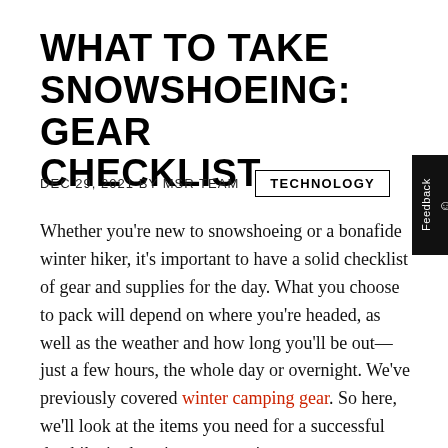WHAT TO TAKE SNOWSHOEING: GEAR CHECKLIST
DEC 29, 2021 BY MSR TEAM
TECHNOLOGY
Whether you're new to snowshoeing or a bonafide winter hiker, it's important to have a solid checklist of gear and supplies for the day. What you choose to pack will depend on where you're headed, as well as the weather and how long you'll be out—just a few hours, the whole day or overnight. We've previously covered winter camping gear. So here, we'll look at the items you need for a successful day hike in the winter mountains.